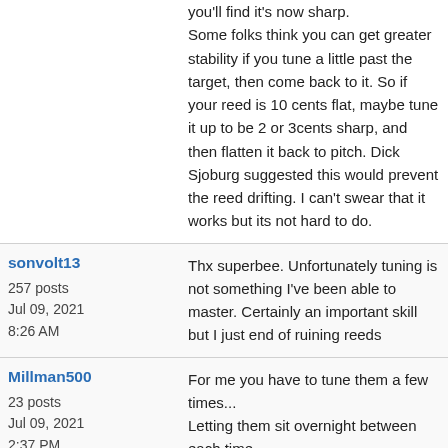you'll find it's now sharp. Some folks think you can get greater stability if you tune a little past the target, then come back to it. So if your reed is 10 cents flat, maybe tune it up to be 2 or 3cents sharp, and then flatten it back to pitch. Dick Sjoburg suggested this would prevent the reed drifting. I can't swear that it works but its not hard to do.
sonvolt13 | 257 posts | Jul 09, 2021 8:26 AM
Thx superbee. Unfortunately tuning is not something I've been able to master. Certainly an important skill but I just end of ruining reeds
Millman500 | 23 posts | Jul 09, 2021 2:37 PM
For me you have to tune them a few times... Letting them sit overnight between each time.

So the first tuning is the most extensive.
Let sit
Come back to it
Find that it went off